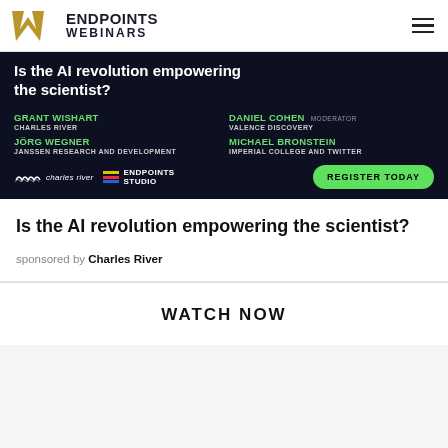ENDPOINTS WEBINARS
[Figure (screenshot): Dark background webinar advertisement banner. Title: 'Is the AI revolution empowering the scientist?' Speakers: Grant Wishart (Charles River), Jörg Wegner (Janssen Research and Development), Daniel Cohen (Valence Discovery, Moderator), Michael Bronstein (Imperial College and Twitter). Logos: Charles River and Endpoints Studio. Register Today button in green.]
Is the AI revolution empowering the scientist?
sponsored by Charles River
WATCH NOW